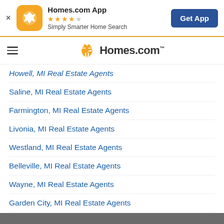[Figure (screenshot): App banner with Homes.com app icon (orange with star logo), app name, star rating, tagline, and Get App button]
[Figure (logo): Homes.com navigation bar with hamburger menu and orange/white logo]
Howell, MI Real Estate Agents
Saline, MI Real Estate Agents
Farmington, MI Real Estate Agents
Livonia, MI Real Estate Agents
Westland, MI Real Estate Agents
Belleville, MI Real Estate Agents
Wayne, MI Real Estate Agents
Garden City, MI Real Estate Agents
Fowlerville, MI Real Estate Agents